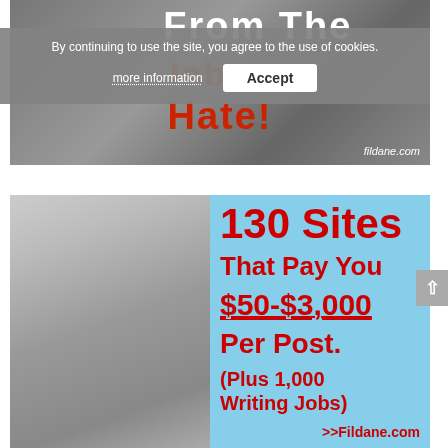[Figure (photo): Black and white photo of a person with text overlay reading 'From The Inbox Hate!' in white and red Impact font, with fildane.com watermark]
[Figure (infographic): Cookie consent overlay banner with text 'By continuing to use the site, you agree to the use of cookies.' with 'more information' link and 'Accept' button]
[Figure (photo): Photo of a young woman with glasses working at a laptop with a coffee mug, beside a light blue advertisement panel reading '130 Sites That Pay You $50-$3,000 Per Post. (Plus 1,000 Writing Jobs) >>Fildane.com']